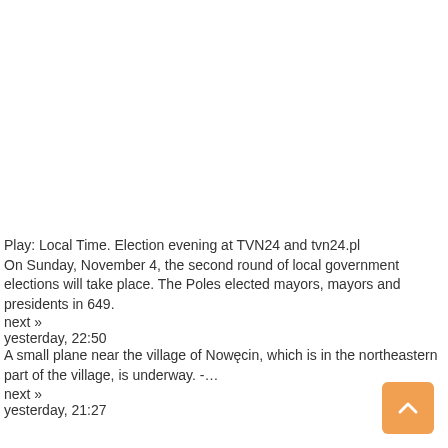Play: Local Time. Election evening at TVN24 and tvn24.pl
On Sunday, November 4, the second round of local government elections will take place. The Poles elected mayors, mayors and presidents in 649.
next »
yesterday, 22:50
A small plane near the village of Nowęcin, which is in the northeastern part of the village, is underway. -…
next »
yesterday, 21:27